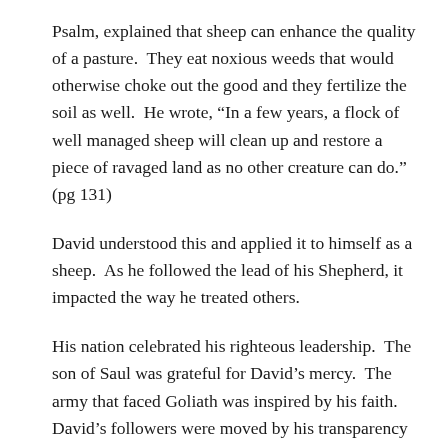Psalm, explained that sheep can enhance the quality of a pasture.  They eat noxious weeds that would otherwise choke out the good and they fertilize the soil as well.  He wrote, “In a few years, a flock of well managed sheep will clean up and restore a piece of ravaged land as no other creature can do.”  (pg 131)
David understood this and applied it to himself as a sheep.  As he followed the lead of his Shepherd, it impacted the way he treated others.
His nation celebrated his righteous leadership.  The son of Saul was grateful for David’s mercy.  The army that faced Goliath was inspired by his faith.  David’s followers were moved by his transparency and humility.  He was the kind of man you wanted to follow because he sweetened the pasture for those who did.